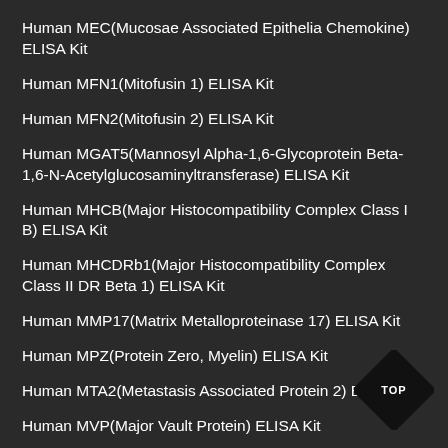Human MEC(Mucosae Associated Epithelia Chemokine) ELISA Kit
Human MFN1(Mitofusin 1) ELISA Kit
Human MFN2(Mitofusin 2) ELISA Kit
Human MGAT5(Mannosyl Alpha-1,6-Glycoprotein Beta-1,6-N-Acetylglucosaminyltransferase) ELISA Kit
Human MHCB(Major Histocompatibility Complex Class I B) ELISA Kit
Human MHCDRb1(Major Histocompatibility Complex Class II DR Beta 1) ELISA Kit
Human MMP17(Matrix Metalloproteinase 17) ELISA Kit
Human MPZ(Protein Zero, Myelin) ELISA Kit
Human MTA2(Metastasis Associated Protein 2) ELISA Kit
Human MVP(Major Vault Protein) ELISA Kit